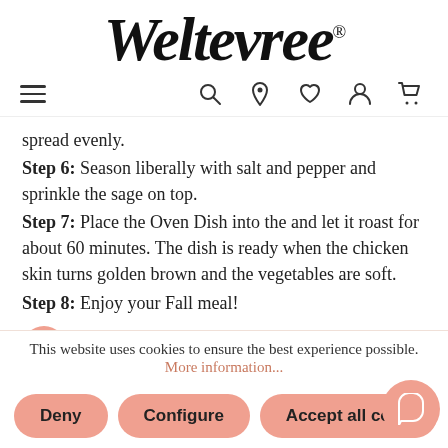Weltevree®
[Figure (screenshot): Navigation bar with hamburger menu on left and icons (search, location, heart, person, cart) on right]
spread evenly.
Step 6: Season liberally with salt and pepper and sprinkle the sage on top.
Step 7: Place the Oven Dish into the and let it roast for about 60 minutes. The dish is ready when the chicken skin turns golden brown and the vegetables are soft.
Step 8: Enjoy your Fall meal!
Do you have an Outdooroven recipe to share? Join our cooking community share your ideas with others
This website uses cookies to ensure the best experience possible.
More information...
Deny | Configure | Accept all cook